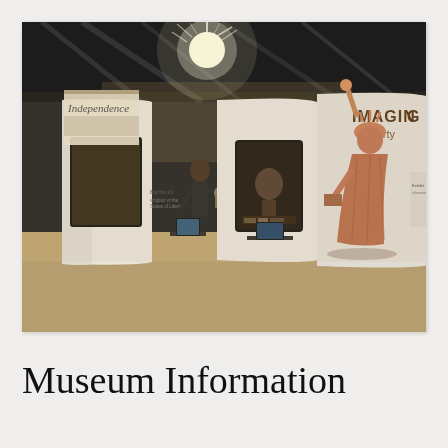[Figure (photo): Interior of a museum exhibition hall featuring curved white display panels with a large illustration of the Statue of Liberty labeled 'IMAGINING Liberty', a banner reading 'Independence', display cases with statues and a bust, interactive touch-screen kiosks, and a visitor examining exhibits. The floor is polished concrete and the ceiling has industrial lighting.]
Museum Information